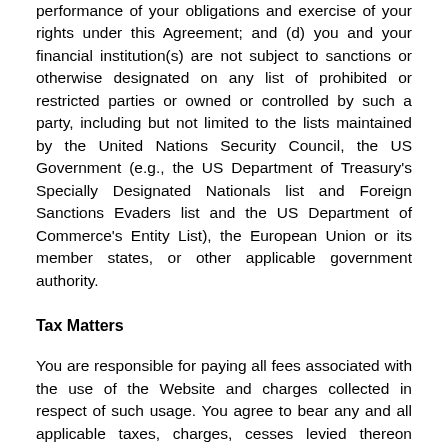performance of your obligations and exercise of your rights under this Agreement; and (d) you and your financial institution(s) are not subject to sanctions or otherwise designated on any list of prohibited or restricted parties or owned or controlled by such a party, including but not limited to the lists maintained by the United Nations Security Council, the US Government (e.g., the US Department of Treasury's Specially Designated Nationals list and Foreign Sanctions Evaders list and the US Department of Commerce's Entity List), the European Union or its member states, or other applicable government authority.
Tax Matters
You are responsible for paying all fees associated with the use of the Website and charges collected in respect of such usage. You agree to bear any and all applicable taxes, charges, cesses levied thereon (including the